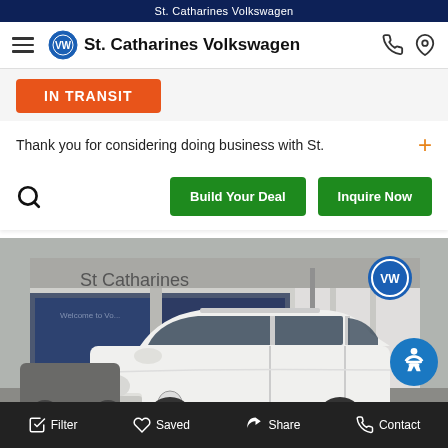St. Catharines Volkswagen
St. Catharines Volkswagen
Thank you for considering doing business with St.
Build Your Deal   Inquire Now
[Figure (photo): St. Catharines Volkswagen dealership exterior with a white VW SUV (Tiguan) parked in front. Dealership sign reads 'St Catharines' with Volkswagen logo visible on the building facade.]
Filter   Saved   Share   Contact